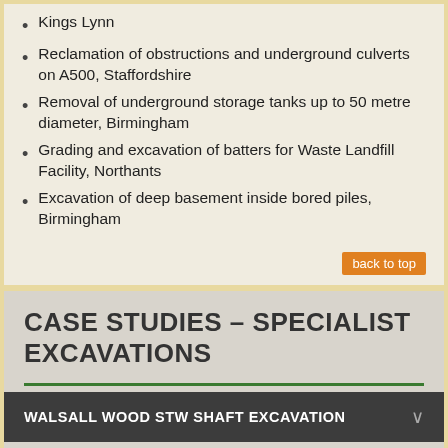Kings Lynn
Reclamation of obstructions and underground culverts on A500, Staffordshire
Removal of underground storage tanks up to 50 metre diameter, Birmingham
Grading and excavation of batters for Waste Landfill Facility, Northants
Excavation of deep basement inside bored piles, Birmingham
back to top
CASE STUDIES – SPECIALIST EXCAVATIONS
WALSALL WOOD STW SHAFT EXCAVATION
[Figure (photo): Aerial photograph of a construction site with heavy machinery including cranes, surrounded by trees]
As part of an